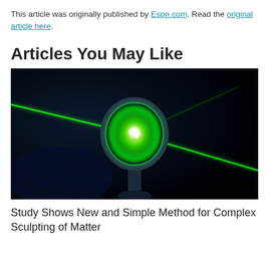This article was originally published by Espn.com. Read the original article here.
Articles You May Like
[Figure (photo): Photograph of a green laser beam passing through an optical lens or mirror mounted on a stand in a dark laboratory setting. The lens glows bright green and white at center with laser beams crossing diagonally.]
Study Shows New and Simple Method for Complex Sculpting of Matter